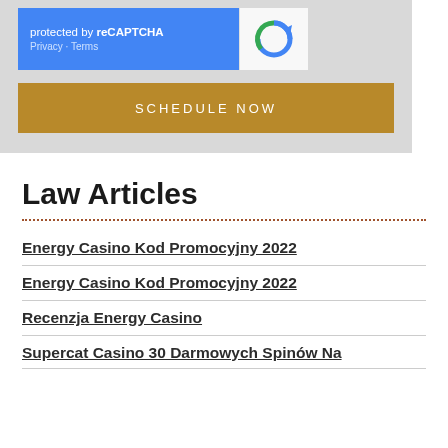[Figure (screenshot): reCAPTCHA widget with blue left panel showing 'protected by reCAPTCHA' text and Privacy/Terms links, and white right panel with reCAPTCHA logo]
SCHEDULE NOW
Law Articles
Energy Casino Kod Promocyjny 2022
Energy Casino Kod Promocyjny 2022
Recenzja Energy Casino
Supercat Casino 30 Darmowych Spinów Na